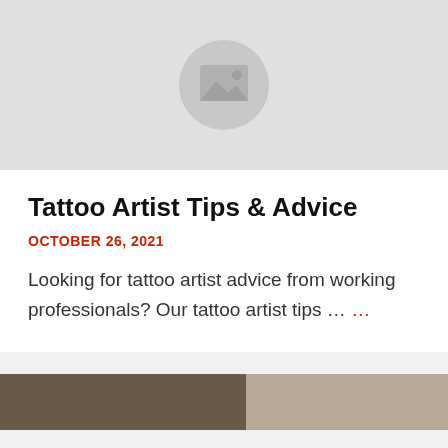[Figure (photo): Gray placeholder image with a mountain/landscape icon in a circle]
Tattoo Artist Tips & Advice
OCTOBER 26, 2021
Looking for tattoo artist advice from working professionals? Our tattoo artist tips ...
[Figure (photo): Bottom partial photo strip showing two images side by side]